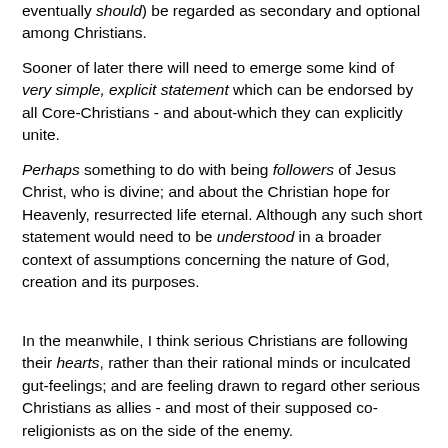eventually should) be regarded as secondary and optional among Christians.
Sooner of later there will need to emerge some kind of very simple, explicit statement which can be endorsed by all Core-Christians - and about-which they can explicitly unite.
Perhaps something to do with being followers of Jesus Christ, who is divine; and about the Christian hope for Heavenly, resurrected life eternal. Although any such short statement would need to be understood in a broader context of assumptions concerning the nature of God, creation and its purposes.
In the meanwhile, I think serious Christians are following their hearts, rather than their rational minds or inculcated gut-feelings; and are feeling drawn to regard other serious Christians as allies - and most of their supposed co-religionists as on the side of the enemy.
And I think this implicit Core Christianity is both right, and...